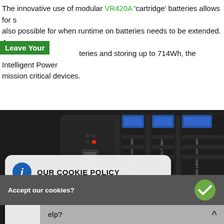The innovative use of modular VR420A 'cartridge' batteries allows for s... also possible for when runtime on batteries needs to be extended. Ava... teries and storing up to 714Wh, the Intelligent Power ... mission critical devices.
Leave Your
[Figure (photo): Photo of a battery management unit with multiple VR420A Rechargeable Lithium Ion Battery cartridges inserted, showing blue tabs, LED indicators, a red button, and various ports on the front panel. The unit is dark/black in color.]
OUR COOKIE POLICY

This website uses cookies to track and improve the visitor experience.

To learn more, please click here.
Accept our cookies?
elp?